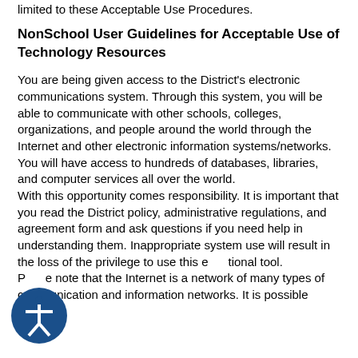limited to these Acceptable Use Procedures.
NonSchool User Guidelines for Acceptable Use of Technology Resources
You are being given access to the District's electronic communications system. Through this system, you will be able to communicate with other schools, colleges, organizations, and people around the world through the Internet and other electronic information systems/networks. You will have access to hundreds of databases, libraries, and computer services all over the world.
With this opportunity comes responsibility. It is important that you read the District policy, administrative regulations, and agreement form and ask questions if you need help in understanding them. Inappropriate system use will result in the loss of the privilege to use this educational tool.
Please note that the Internet is a network of many types of communication and information networks. It is possible